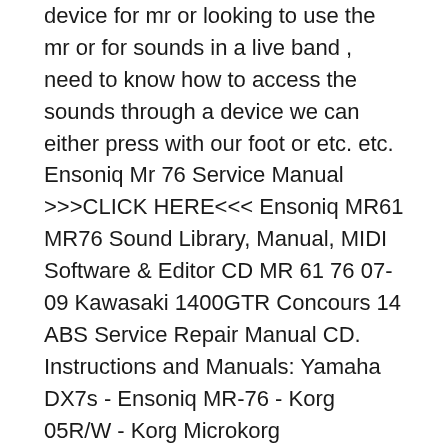device for mr or looking to use the mr or for sounds in a live band , need to know how to access the sounds through a device we can either press with our foot or etc. etc. Ensoniq Mr 76 Service Manual >>>CLICK HERE<<< Ensoniq MR61 MR76 Sound Library, Manual, MIDI Software & Editor CD MR 61 76 07-09 Kawasaki 1400GTR Concours 14 ABS Service Repair Manual CD. Instructions and Manuals: Yamaha DX7s - Ensoniq MR-76 - Korg 05R/W - Korg Microkorg (customized) - Roland Juno-G - Dave Smith Instruments, Mopho X4.
Ensoniq MR-61 The Ensoniq MR61 is a 61-key music workstation synthesizer that Ensoniq released in 1996. It features a 16-track sequencer , digital effects, and several hundred onboard